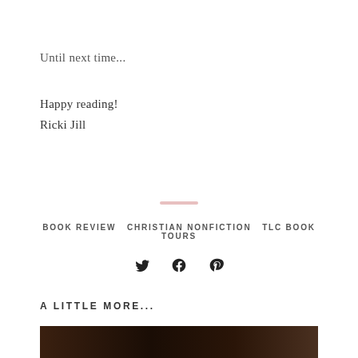Until next time...
Happy reading!
Ricki Jill
BOOK REVIEW   CHRISTIAN NONFICTION   TLC BOOK TOURS
[Figure (infographic): Social media icons: Twitter bird, Facebook f, Pinterest p]
A LITTLE MORE...
[Figure (photo): Partial bottom image, dark/brown toned photograph cropped at page edge]